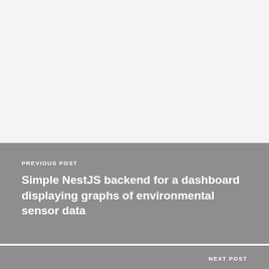PREVIOUS POST
Simple NestJS backend for a dashboard displaying graphs of environmental sensor data
NEXT POST
A set of functions for drawing S-curved arrows